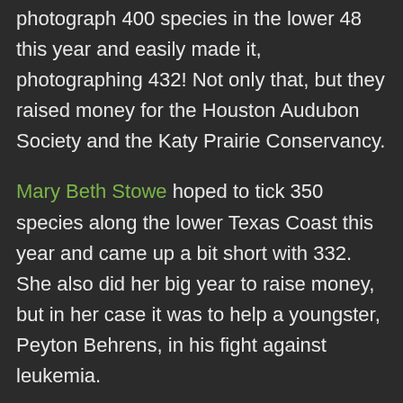photograph 400 species in the lower 48 this year and easily made it, photographing 432! Not only that, but they raised money for the Houston Audubon Society and the Katy Prairie Conservancy.
Mary Beth Stowe hoped to tick 350 species along the lower Texas Coast this year and came up a bit short with 332. She also did her big year to raise money, but in her case it was to help a youngster, Peyton Behrens, in his fight against leukemia.